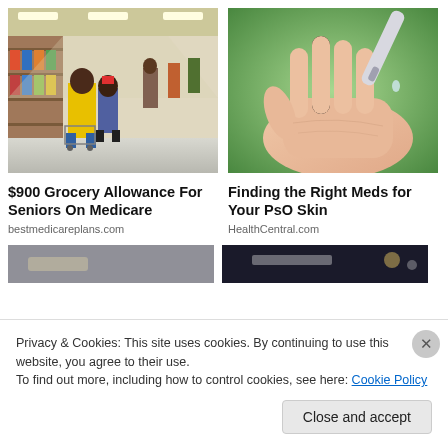[Figure (photo): People shopping in a grocery store aisle with shopping carts, colorful shelves in background]
$900 Grocery Allowance For Seniors On Medicare
bestmedicareplans.com
[Figure (photo): Close-up of a hand with an open palm receiving drops from a medical dropper/bottle, green background]
Finding the Right Meds for Your PsO Skin
HealthCentral.com
[Figure (photo): Partially visible bottom strip showing two blurred images]
Privacy & Cookies: This site uses cookies. By continuing to use this website, you agree to their use.
To find out more, including how to control cookies, see here: Cookie Policy
Close and accept